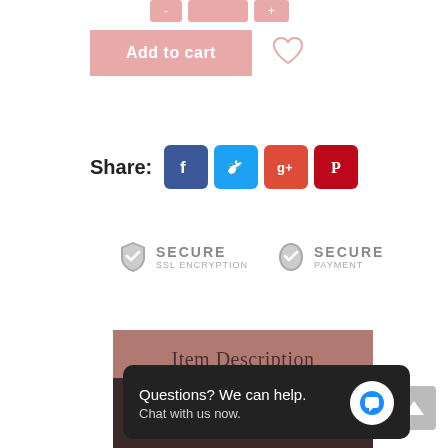[Figure (screenshot): Partial navigation pills (Add to cart, quantity buttons) at top]
[Figure (screenshot): Add to cart pink button with heart/wishlist icon]
Share:
[Figure (screenshot): Social share icons: Facebook, Twitter, Google+, Pinterest]
[Figure (screenshot): Secure SSL Encryption badge and Secure Payment badge]
Item Description
[Figure (screenshot): Chat widget: Questions? We can help. Chat with us now.]
[Figure (screenshot): Back to top arrow button]